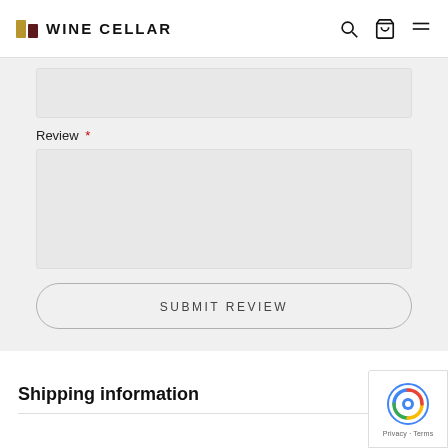WINE CELLAR
Review *
SUBMIT REVIEW
Shipping information